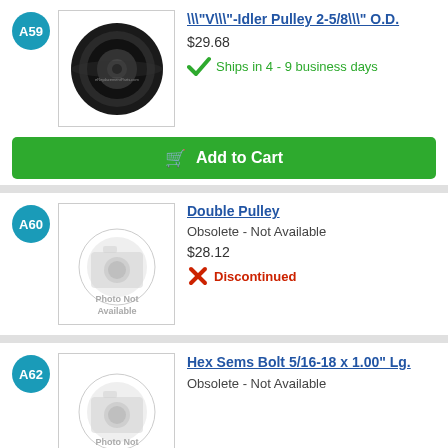A59 \"V\"-Idler Pulley 2-5/8\" O.D. $29.68 Ships in 4 - 9 business days
A60 Double Pulley Obsolete - Not Available $28.12 Discontinued
A62 Hex Sems Bolt 5/16-18 x 1.00" Lg. Obsolete - Not Available